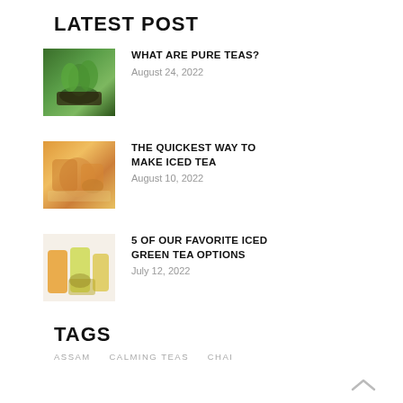LATEST POST
WHAT ARE PURE TEAS? | August 24, 2022
THE QUICKEST WAY TO MAKE ICED TEA | August 10, 2022
5 OF OUR FAVORITE ICED GREEN TEA OPTIONS | July 12, 2022
TAGS
ASSAM   CALMING TEAS   CHAI